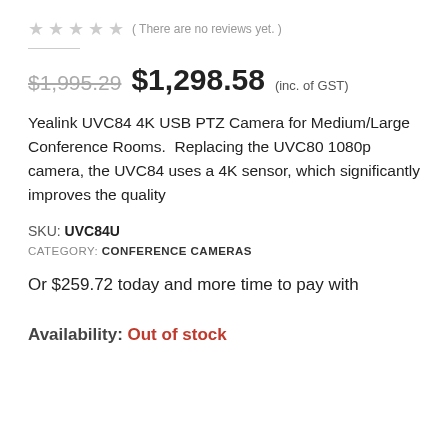★★★★★ ( There are no reviews yet. )
$1,995.29  $1,298.58 (inc. of GST)
Yealink UVC84 4K USB PTZ Camera for Medium/Large Conference Rooms.  Replacing the UVC80 1080p camera, the UVC84 uses a 4K sensor, which significantly improves the quality
SKU: UVC84U
CATEGORY: CONFERENCE CAMERAS
Or $259.72 today and more time to pay with
Availability: Out of stock